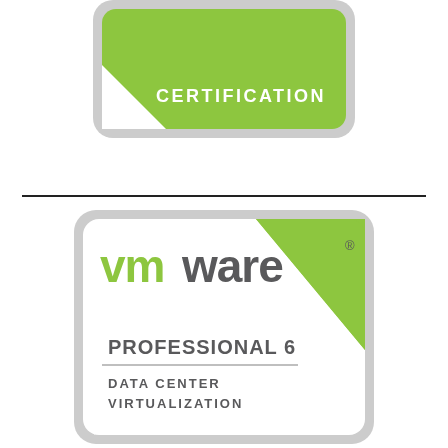[Figure (logo): VMware certification badge (top, partial/cropped) — green rounded rectangle badge with white 'CERTIFICATION' text in bold caps and a white triangle accent at lower-left corner, set in a gray outer rounded rectangle frame.]
[Figure (logo): VMware Professional 6 Data Center Virtualization certification badge — gray outer rounded rectangle, white inner area with green triangle at top-right corner, VMware logo (stylized 'vm' in green and 'ware' in gray) at top-left, a white speech-bubble shaped box containing bold 'PROFESSIONAL 6' text, a horizontal divider line, and 'DATA CENTER VIRTUALIZATION' text below.]